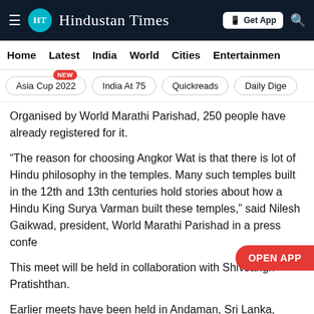HT Hindustan Times
Home  Latest  India  World  Cities  Entertainment
Asia Cup 2022  NEW  India At 75  Quickreads  Daily Dige
Organised by World Marathi Parishad, 250 people have already registered for it.
“The reason for choosing Angkor Wat is that there is lot of Hindu philosophy in the temples. Many such temples built in the 12th and 13th centuries hold stories about how a Hindu King Surya Varman built these temples,” said Nilesh Gaikwad, president, World Marathi Parishad in a press confe
This meet will be held in collaboration with Shivsangh Pratishthan.
Earlier meets have been held in Andaman, Sri Lanka, Nepal, Thailand, Mauritius, Bhutan, Bali and Dubai.
“The idea is to connect with Maharashtrians across the globe.